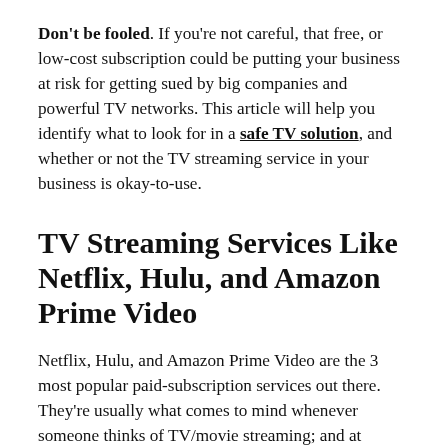Don't be fooled. If you're not careful, that free, or low-cost subscription could be putting your business at risk for getting sued by big companies and powerful TV networks. This article will help you identify what to look for in a safe TV solution, and whether or not the TV streaming service in your business is okay-to-use.
TV Streaming Services Like Netflix, Hulu, and Amazon Prime Video
Netflix, Hulu, and Amazon Prime Video are the 3 most popular paid-subscription services out there. They're usually what comes to mind whenever someone thinks of TV/movie streaming; and at roughly $10/month, who wouldn't go for that in